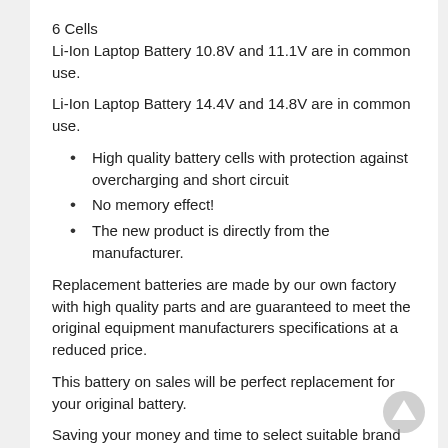6 Cells
Li-Ion Laptop Battery 10.8V and 11.1V are in common use.
Li-Ion Laptop Battery 14.4V and 14.8V are in common use.
High quality battery cells with protection against overcharging and short circuit
No memory effect!
The new product is directly from the manufacturer.
Replacement batteries are made by our own factory with high quality parts and are guaranteed to meet the original equipment manufacturers specifications at a reduced price.
This battery on sales will be perfect replacement for your original battery.
Saving your money and time to select suitable brand new battery here, quality of this battery is certified as well by FCC, RoHS and the CE.
We guarantee our battery with a full warranty and 30-days